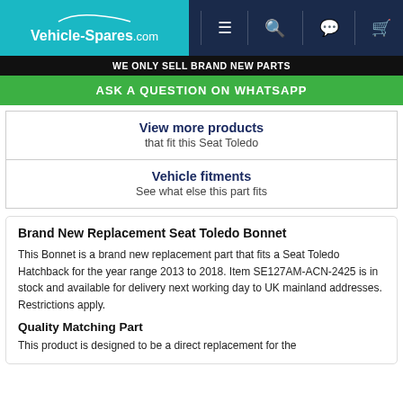[Figure (screenshot): Vehicle-Spares.com website header with teal logo section and dark navy navigation bar containing hamburger menu, search, WhatsApp, and cart icons]
WE ONLY SELL BRAND NEW PARTS
ASK A QUESTION ON WHATSAPP
View more products
that fit this Seat Toledo
Vehicle fitments
See what else this part fits
Brand New Replacement Seat Toledo Bonnet
This Bonnet is a brand new replacement part that fits a Seat Toledo Hatchback for the year range 2013 to 2018. Item SE127AM-ACN-2425 is in stock and available for delivery next working day to UK mainland addresses. Restrictions apply.
Quality Matching Part
This product is designed to be a direct replacement for the